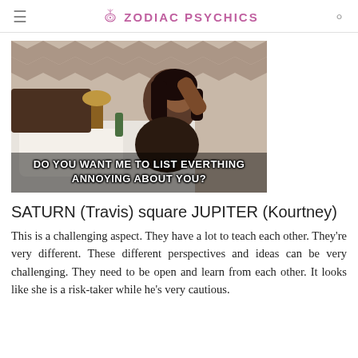Zodiac Psychics
[Figure (photo): A woman with long dark hair sitting on a bed, looking sideways, with subtitle text: DO YOU WANT ME TO LIST EVERTHING ANNOYING ABOUT YOU?]
SATURN (Travis) square JUPITER (Kourtney)
This is a challenging aspect. They have a lot to teach each other. They're very different. These different perspectives and ideas can be very challenging. They need to be open and learn from each other. It looks like she is a risk-taker while he's very cautious.